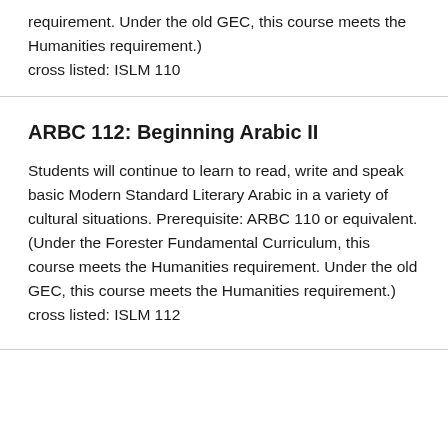requirement. Under the old GEC, this course meets the Humanities requirement.)
cross listed: ISLM 110
ARBC 112: Beginning Arabic II
Students will continue to learn to read, write and speak basic Modern Standard Literary Arabic in a variety of cultural situations. Prerequisite: ARBC 110 or equivalent. (Under the Forester Fundamental Curriculum, this course meets the Humanities requirement. Under the old GEC, this course meets the Humanities requirement.)
cross listed: ISLM 112